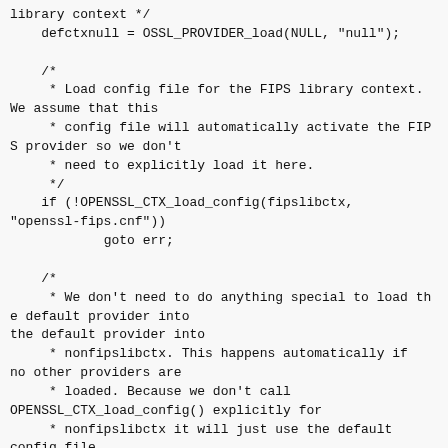library context */
    defctxnull = OSSL_PROVIDER_load(NULL, "null");

    /*
     * Load config file for the FIPS library context. We assume that this
     * config file will automatically activate the FIPS provider so we don't
     * need to explicitly load it here.
     */
    if (!OPENSSL_CTX_load_config(fipslibctx, "openssl-fips.cnf"))
            goto err;

    /*
     * We don't need to do anything special to load the default provider into
     * nonfipslibctx. This happens automatically if no other providers are
     * loaded. Because we don't call OPENSSL_CTX_load_config() explicitly for
     * nonfipslibctx it will just use the default config file.
     */

    /* As an example get some digests */

    /* Get a FIPS validated digest */
    fipssha256 = EVP_MD_fetch(fipslibctx, "SHA2-256", NULL);
    if (fipssha256 == NULL)
            goto err;